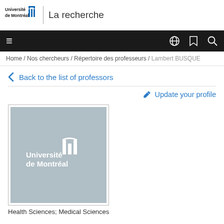Université de Montréal | La recherche
Navigation bar with hamburger menu, globe, bookmark, and search icons
Home / Nos chercheurs / Répertoire des professeurs / Lambert BUSQUE
Back to the list of professors
Update your profile
[Figure (logo): Université de Montréal logo placeholder image on grey background]
Health Sciences; Medical Sciences